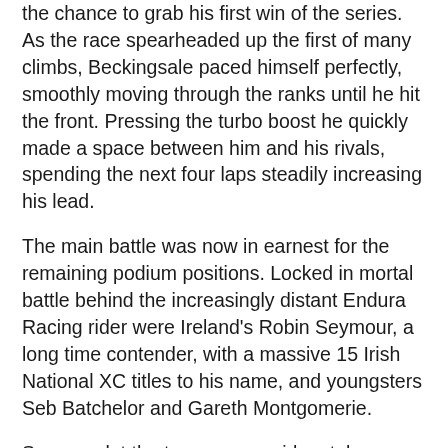the chance to grab his first win of the series. As the race spearheaded up the first of many climbs, Beckingsale paced himself perfectly, smoothly moving through the ranks until he hit the front. Pressing the turbo boost he quickly made a space between him and his rivals, spending the next four laps steadily increasing his lead.
The main battle was now in earnest for the remaining podium positions. Locked in mortal battle behind the increasingly distant Endura Racing rider were Ireland's Robin Seymour, a long time contender, with a massive 15 Irish National XC titles to his name, and youngsters Seb Batchelor and Gareth Montgomerie.
Seymour let the two younger riders take on the race watching their moves keeping himself in the right place for all attacks, his intelligent riding paid dividends as Montgomerie and Batchelor started to fall apart in the closing stages, leaving Seymour to steal a march and take second, with Batchelor battling hard to grab third from Montgomerie